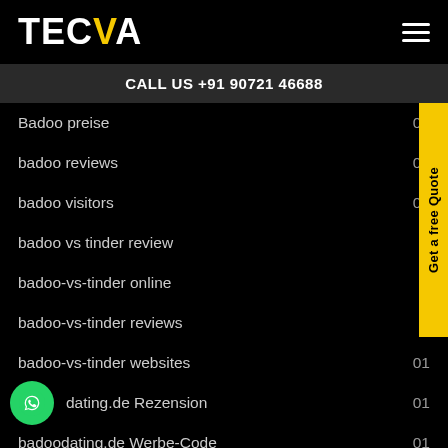TECVA
CALL US +91 90721 46688
Badoo preise 01
badoo reviews 01
badoo visitors 02
badoo vs tinder review
badoo-vs-tinder online
badoo-vs-tinder reviews
badoo-vs-tinder websites 01
badoodating.de Rezension 01
badoodating.de Werbe-Code 01